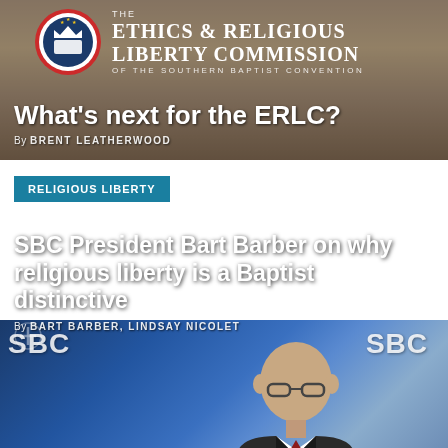[Figure (screenshot): ERLC logo circle with crown and book emblem, red and blue circular border]
THE ETHICS & RELIGIOUS LIBERTY COMMISSION OF THE SOUTHERN BAPTIST CONVENTION
What’s next for the ERLC?
By BRENT LEATHERWOOD
[Figure (photo): SBC branded background (blue banners with SBC logo), man in dark suit with glasses and red tie speaking at podium with microphones]
RELIGIOUS LIBERTY
SBC President Bart Barber on why religious liberty is a Baptist distinctive
By BART BARBER, LINDSAY NICOLET
[Figure (infographic): Social sharing bar with icons for Facebook, Twitter, Email, Pinterest, and More (+)]